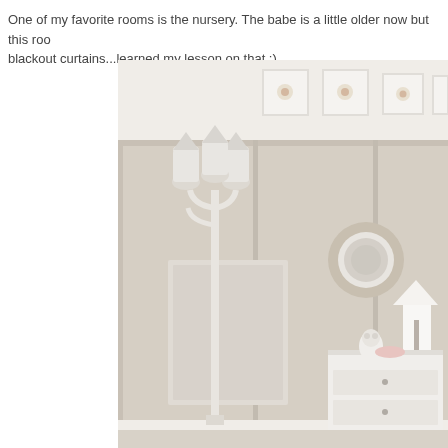One of my favorite rooms is the nursery. The babe is a little older now but this room...blackout curtains...learned my lesson on that :)
[Figure (photo): A beautifully decorated nursery room with beige wainscoting panels, a white outdoor-style lamp post, small framed floral art pieces along the upper wall, an ornate round mirror, a white dresser with a lamp and owl figurine, and soft neutral tones throughout.]